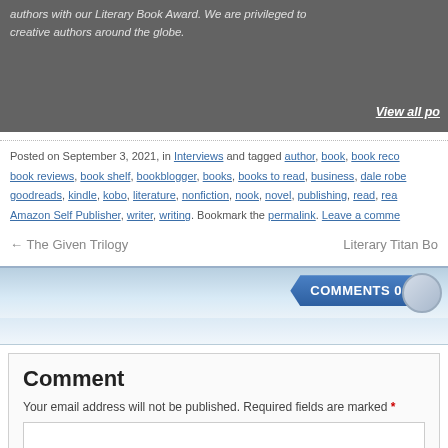authors with our Literary Book Award. We are privileged to creative authors around the globe.

View all po
Posted on September 3, 2021, in Interviews and tagged author, book, book reco book reviews, book shelf, bookblogger, books, books to read, business, dale rob goodreads, kindle, kobo, literature, nonfiction, nook, novel, publishing, read, rea Amazon Self Publisher, writer, writing. Bookmark the permalink. Leave a comme
← The Given Trilogy
Literary Titan Bo
COMMENTS 0
Comment
Your email address will not be published. Required fields are marked *